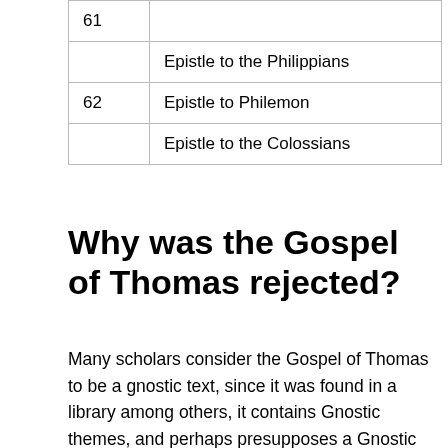| Number | Name |
| --- | --- |
| 61 |  |
|  | Epistle to the Philippians |
| 62 | Epistle to Philemon |
|  | Epistle to the Colossians |
Why was the Gospel of Thomas rejected?
Many scholars consider the Gospel of Thomas to be a gnostic text, since it was found in a library among others, it contains Gnostic themes, and perhaps presupposes a Gnostic worldview. Others reject this interpretation, because Thomas lacks the full-blown mythology of Gnosticism, so…